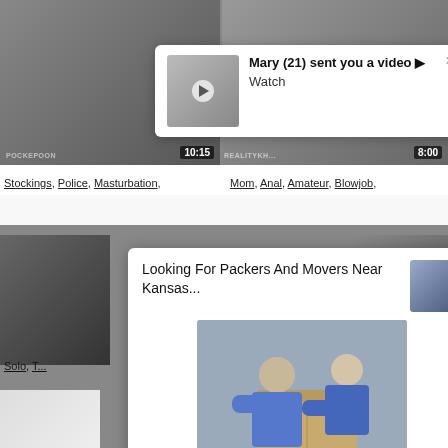[Figure (screenshot): Background of a pornographic video website showing video thumbnails with duration tags and category labels]
Stockings, Police, Masturbation,
Mom, Anal, Amateur, Blowjob,
Teen
[Figure (screenshot): Notification popup: Mary (21) sent you a video ▶ Watch]
Mary (21) sent you a video ▶
Watch
[Figure (screenshot): Ad popup: Looking For Packers And Movers Near Kansas... with image of movers carrying boxes]
Looking For Packers And Movers Near Kansas...
a1h